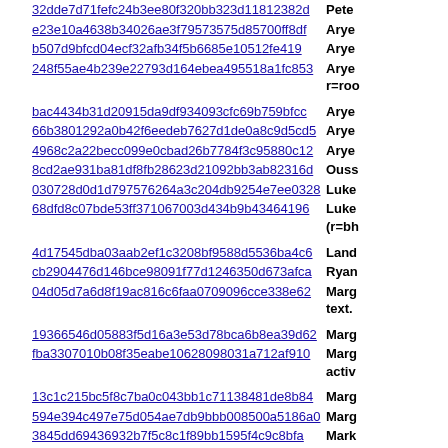| Hash | Name |
| --- | --- |
| 32dde7d71fefc24b3ee80f320bb323d11812382d | Pete |
| e23e10a4638b34026ae3f79573575d85700ff8df | Arye |
| b507d9bfcd04ecf32afb34f5b6685e10512fe419 | Arye |
| 248f55ae4b239e22793d164ebea495518a1fc853 | Arye r=roo |
| bac4434b31d20915da9df934093cfc69b759bfcc | Arye |
| 66b3801292a0b42f6eedeb7627d1de0a8c9d5cd5 | Arye |
| 4968c2a22becc099e0cbad26b7784f3c95880c12 | Arye |
| 8cd2ae931ba81df8fb28623d21092bb3ab82316d | Ouss |
| 030728d0d1d797576264a3c204db9254e7ee0328 | Luke |
| 68dfd8c07bde53ff371067003d434b9b43464196 | Luke (r=bh |
| 4d17545dba03aab2ef1c3208bf9588d5536ba4c6 | Land |
| cb2904476d146bce98091f77d1246350d673afca | Ryan |
| 04d05d7a6d8f19ac816c6faa0709096cce338e62 | Marg text. |
| 19366546d05883f5d16a3e53d78bca6b8ea39d62 | Marg |
| fba3307010b08f35eabe10628098031a712af910 | Marg activ |
| 13c1c215bc5f8c7ba0c043bb1c71138481de8b84 | Marg |
| 594e394c497e75d054ae7db9bbb008500a5186a0 | Marg |
| 3845dd69436932b7f5c8c1f89bb1595f4c9c8bfa | Mark GetC |
| 9e10ec9462e2bf70c0ef19c269efa32d1ea386d1 | Mark table |
| d592966ede4f4ba3ab55ef4486dc11101d5b6538 | Geo I |
| 53ba44b136f0377caf46cf4d529538d08575bcfb | Jeff V |